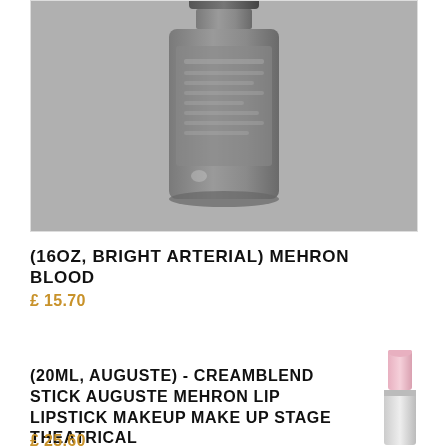[Figure (photo): Dark grey/black cylindrical bottle product photo, back label visible, blurred background]
(16OZ, BRIGHT ARTERIAL) MEHRON BLOOD
£ 15.70
(20ML, AUGUSTE) - CREAMBLEND STICK AUGUSTE MEHRON LIP LIPSTICK MAKEUP MAKE UP STAGE THEATRICAL
[Figure (photo): Pink lipstick product image]
£ 25.60